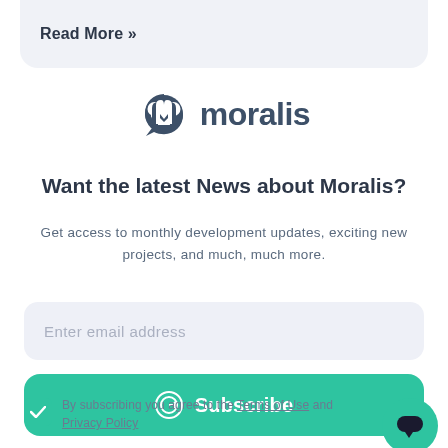Read More »
[Figure (logo): Moralis logo: stylized M icon in dark blue-grey with the word 'moralis' in dark blue-grey text]
Want the latest News about Moralis?
Get access to monthly development updates, exciting new projects, and much, much more.
Enter email address
Subscribe
By subscribing you agree to the Terms of Use and Privacy Policy